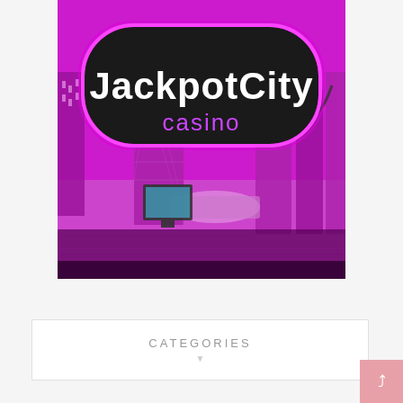[Figure (logo): JackpotCity Casino logo/banner with magenta-tinted cityscape skyline background and large rounded black badge with white 'JackpotCity' text and purple 'casino' text below]
CATEGORIES